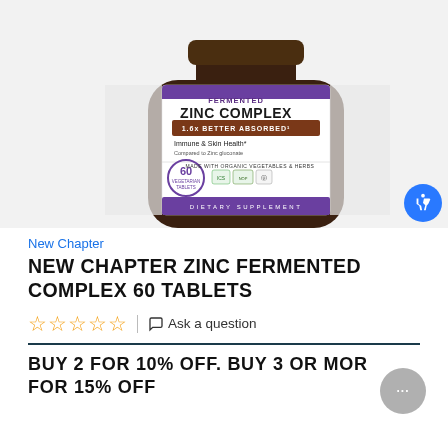[Figure (photo): Product photo of New Chapter Fermented Zinc Complex supplement bottle, showing label with text: FERMENTED ZINC COMPLEX, 1.6x BETTER ABSORBED, Immune & Skin Health*, 60 Vegetarian Tablets, Dietary Supplement. Purple and white label with certification logos.]
New Chapter
NEW CHAPTER ZINC FERMENTED COMPLEX 60 TABLETS
☆☆☆☆☆  |  Ask a question
BUY 2 FOR 10% OFF. BUY 3 OR MORE FOR 15% OFF